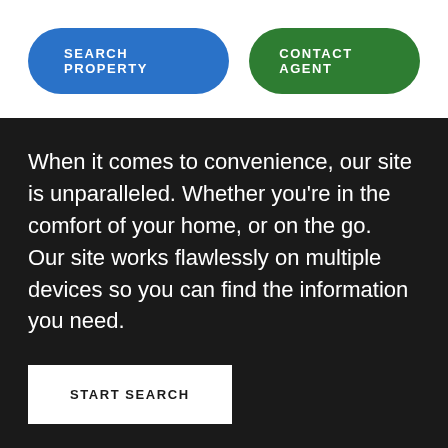SEARCH PROPERTY
CONTACT AGENT
When it comes to convenience, our site is unparalleled. Whether you're in the comfort of your home, or on the go.
Our site works flawlessly on multiple devices so you can find the information you need.
START SEARCH
[Figure (logo): Real Estate circular logo with mountain illustration at the bottom of the page]